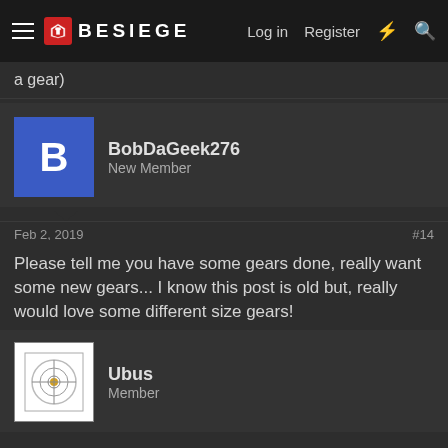BESIEGE | Log in | Register
a gear)
BobDaGeek276
New Member
Feb 2, 2019 #14
Please tell me you have some gears done, really want some new gears... I know this post is old but, really would love some different size gears!
Ubus
Member
Feb 3, 2019 #15
BobDaGeek276 said: ↑
Please tell me you have some gears done, really want some new gears... I know this post is old but, really would love some different